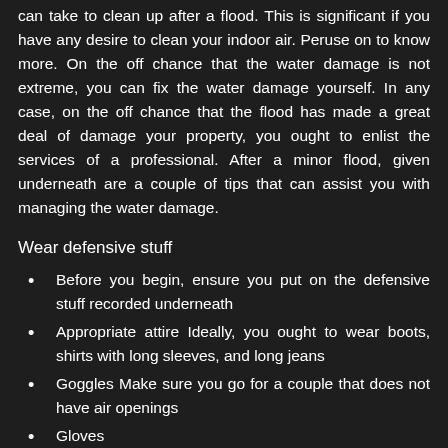can take to clean up after a flood. This is significant if you have any desire to clean your indoor air. Peruse on to know more. On the off chance that the water damage is not extreme, you can fix the water damage yourself. In any case, on the off chance that the flood has made a great deal of damage your property, you ought to enlist the services of a professional. After a minor flood, given underneath are a couple of tips that can assist you with managing the water damage.
Wear defensive stuff
Before you begin, ensure you put on the defensive stuff recorded underneath
Appropriate attire Ideally, you ought to wear boots, shirts with long sleeves, and long jeans
Goggles Make sure you go for a couple that does not have air openings
Gloves